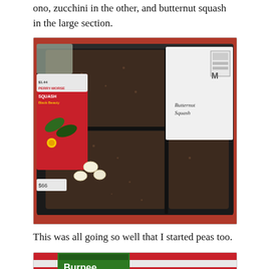ono, zucchini in the other, and butternut squash in the large section.
[Figure (photo): A black plastic seed starting tray filled with dark soil, seeds visible on the surface. A seed packet for Perry-Morse Squash Black Beauty zucchini is propped against the left side. A white envelope labeled 'Butternut Squash' in handwriting is visible on the right. Three large pale seeds are placed on top of the soil.]
This was all going so well that I started peas too.
[Figure (photo): Partial view of a seed packet for Burpee brand seeds with red and white striped fabric or cloth visible in the background.]